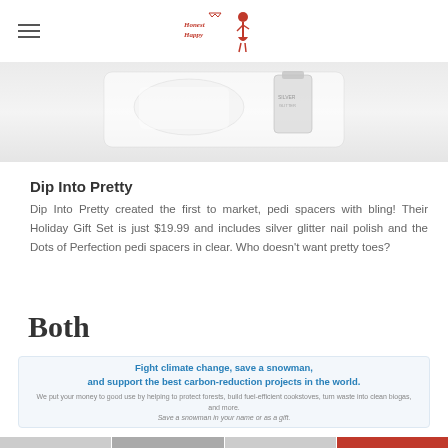Honest Happy (logo with woman in red dress)
[Figure (photo): Product image showing pedi spacers and nail polish bottles on a white/light grey background, partially cropped at top]
Dip Into Pretty
Dip Into Pretty created the first to market, pedi spacers with bling! Their Holiday Gift Set is just $19.99 and includes silver glitter nail polish and the Dots of Perfection pedi spacers in clear. Who doesn't want pretty toes?
Both
Fight climate change, save a snowman, and support the best carbon-reduction projects in the world.
We put your money to good use by helping to protect forests, build fuel-efficient cookstoves, turn waste into clean biogas, and more.
Save a snowman in your name or as a gift.